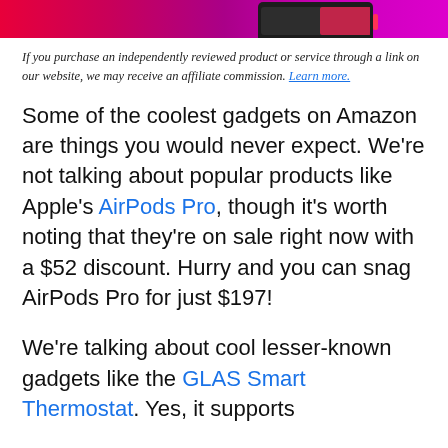[Figure (photo): Banner image with pink-to-magenta gradient background and a dark device (phone/tablet) visible at the top of the page]
If you purchase an independently reviewed product or service through a link on our website, we may receive an affiliate commission. Learn more.
Some of the coolest gadgets on Amazon are things you would never expect. We’re not talking about popular products like Apple’s AirPods Pro, though it’s worth noting that they’re on sale right now with a $52 discount. Hurry and you can snag AirPods Pro for just $197!
We’re talking about cool lesser-known gadgets like the GLAS Smart Thermostat. Yes, it supports